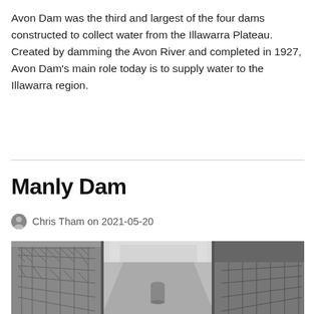Avon Dam was the third and largest of the four dams constructed to collect water from the Illawarra Plateau. Created by damming the Avon River and completed in 1927, Avon Dam's main role today is to supply water to the Illawarra region.
Manly Dam
Chris Tham on 2021-05-20
[Figure (photo): Black and white photograph of a dam walkway with chain-link fences on both sides, a cylindrical object in the middle of the path, trees visible in the background.]